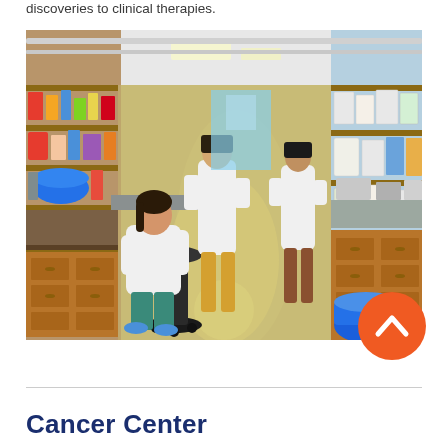discoveries to clinical therapies.
[Figure (photo): Laboratory scene with researchers in white lab coats working at benches surrounded by shelves filled with lab supplies, reagents, and equipment. A woman sits in the foreground at a microscope, while others stand and work further back in the lab corridor.]
Cancer Center